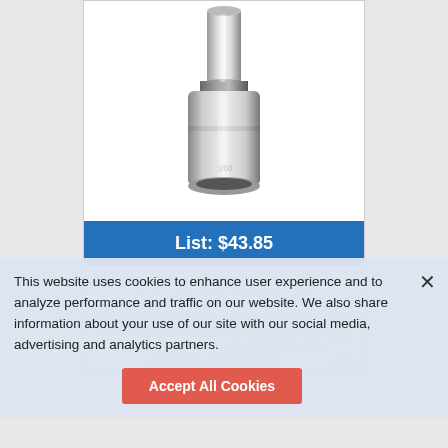[Figure (photo): Chrome hex bit driver socket tool, showing a hexagonal shank extending from a chrome-plated socket body. Text '3/60' visible on socket side.]
List: $43.85
(0) [star rating placeholder]
1/2 X 3/8 HEX BIT DRIVER
Ball configuration at end of chrome-plated shank provides convenience and speed of off-axis rotation while offering more access in compact areas. For heavy duty applications. Chrome-plated  VIEW
This website uses cookies to enhance user experience and to analyze performance and traffic on our website. We also share information about your use of our site with our social media, advertising and analytics partners.
Accept All Cookies